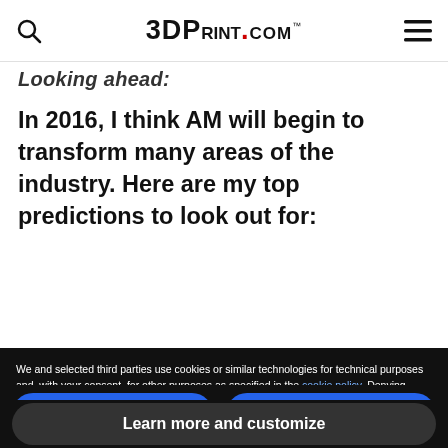3DPRINT.COM™
Looking ahead:
In 2016, I think AM will begin to transform many areas of the industry. Here are my top predictions to look out for:
We and selected third parties use cookies or similar technologies for technical purposes and, with your consent, for other purposes as specified in the cookie policy. Denying consent may make related features unavailable.
In case of sale of your personal information, you may opt out by using the link "Do Not Sell My Personal Information".
To find out more about the categories of personal information collected and the purposes for which such information will be used, please refer to our privacy policy.
You can consent to the use of such technologies by using the "Accept" button, by scrolling this page, by interacting with any link or button outside of this notice or by continuing to browse otherwise.
Reject
Accept
Learn more and customize